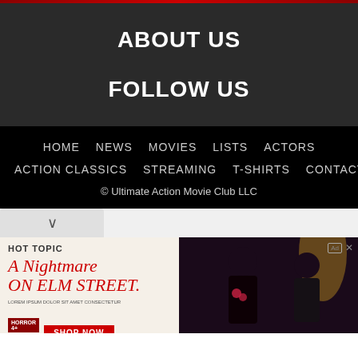ABOUT US
FOLLOW US
HOME  NEWS  MOVIES  LISTS  ACTORS  ACTION CLASSICS  STREAMING  T-SHIRTS  CONTACT
© Ultimate Action Movie Club LLC
[Figure (screenshot): Hot Topic advertisement for A Nightmare on Elm Street with 'SHOP NOW' button and people in dark clothing]